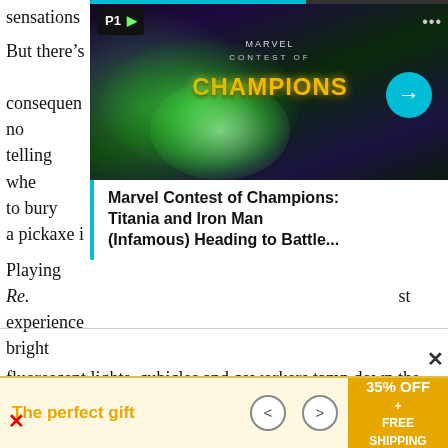sensations
[Figure (screenshot): Marvel Contest of Champions game screenshot showing green glowing character, with P1 badge, navigation arrows, and card title: Marvel Contest of Champions: Titania and Iron Man (Infamous) Heading to Battle...]
But there's [unintended consequences] there's no telling whe[ther] but to bury a pickaxe in
Playing Re[z Infinite is the bes]t experience [the bright] fluorescent lights, cubicles and coworkers tamp down the animal terror of blinding and deafening yourself to the real world and its predators. Rez Infinite is everything I hoped it would be, replicating the exact World Wide Web CyberCity experience 80s and 90s fiction like Hackers, The Lawnmower Man and Neuromancer promised us. This was the digital domain of the imagination, when all we had was visual metaphors instead of
[Figure (infographic): Advertisement bar: The perfect gift, with navigation arrows and 35% OFF + FREE SHIPPING label]